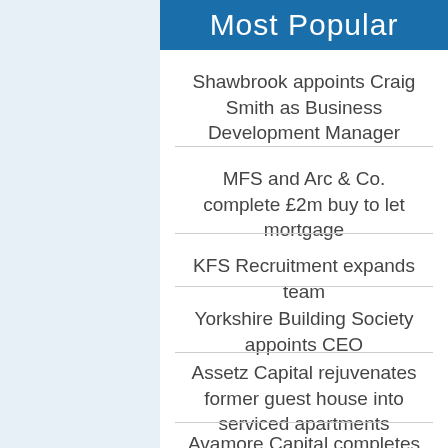Most Popular
Shawbrook appoints Craig Smith as Business Development Manager
MFS and Arc & Co. complete £2m buy to let mortgage
KFS Recruitment expands team
Yorkshire Building Society appoints CEO
Assetz Capital rejuvenates former guest house into serviced apartments
Avamore Capital completes double deal with repeat